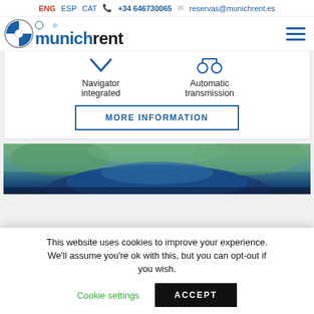ENG   ESP   CAT   +34 646730065   reservas@munichrent.es
[Figure (logo): munichrent logo with BMW and MINI brand icons]
Navigator integrated
Automatic transmission
MORE INFORMATION
[Figure (photo): Blue car photographed from behind, in a green outdoor setting]
This website uses cookies to improve your experience. We'll assume you're ok with this, but you can opt-out if you wish.
Cookie settings
ACCEPT